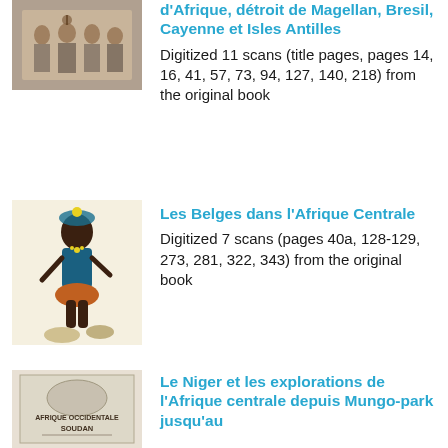[Figure (photo): Sepia photograph of a group of people standing together]
d'Afrique, détroit de Magellan, Bresil, Cayenne et Isles Antilles
Digitized 11 scans (title pages, pages 14, 16, 41, 57, 73, 94, 127, 140, 218) from the original book
[Figure (illustration): Colorful illustration of an African figure in traditional dress]
Les Belges dans l'Afrique Centrale
Digitized 7 scans (pages 40a, 128-129, 273, 281, 322, 343) from the original book
[Figure (photo): Book cover or page showing 'AFRIQUE OCCIDENTALE SOUDAN']
Le Niger et les explorations de l'Afrique centrale depuis Mungo-park jusqu'au